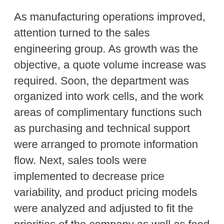As manufacturing operations improved, attention turned to the sales engineering group. As growth was the objective, a quote volume increase was required. Soon, the department was organized into work cells, and the work areas of complimentary functions such as purchasing and technical support were arranged to promote information flow. Next, sales tools were implemented to decrease price variability, and product pricing models were analyzed and adjusted to fit the priorities of the company as well as feed cost data into the new cost accounting system.
The results of the Lean implementation were impressive—$4.5 million in past due orders